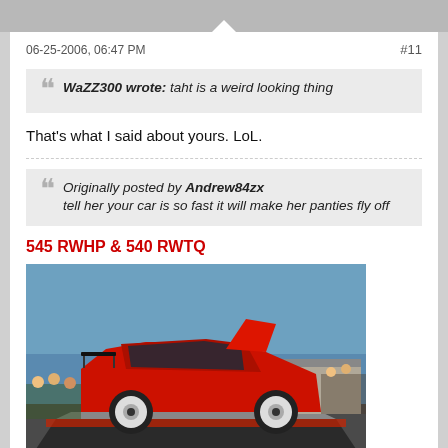06-25-2006, 06:47 PM
#11
WaZZ300 wrote: taht is a weird looking thing
That's what I said about yours. LoL.
Originally posted by Andrew84zx
tell her your car is so fast it will make her panties fly off
545 RWHP & 540 RWTQ
[Figure (photo): Red sports car (appears to be a Toyota MR2 or similar) on a dyno/rolling road at what looks like an outdoor motorsport event. The car is red with a large rear spoiler, hood open, on metal rollers. Spectators visible in background along with a building.]